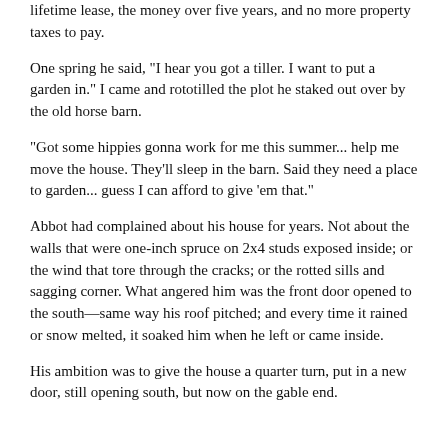lifetime lease, the money over five years, and no more property taxes to pay.
One spring he said, "I hear you got a tiller. I want to put a garden in." I came and rototilled the plot he staked out over by the old horse barn.
"Got some hippies gonna work for me this summer... help me move the house. They'll sleep in the barn. Said they need a place to garden... guess I can afford to give 'em that."
Abbot had complained about his house for years. Not about the walls that were one-inch spruce on 2x4 studs exposed inside; or the wind that tore through the cracks; or the rotted sills and sagging corner. What angered him was the front door opened to the south—same way his roof pitched; and every time it rained or snow melted, it soaked him when he left or came inside.
His ambition was to give the house a quarter turn, put in a new door, still opening south, but now on the gable end.